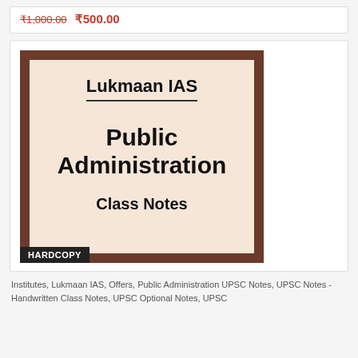₹1,000.00 ₹500.00
[Figure (illustration): Book cover for Lukmaan IAS Public Administration Class Notes with brown border and beige background, with HARDCOPY badge]
Institutes, Lukmaan IAS, Offers, Public Administration UPSC Notes, UPSC Notes - Handwritten Class Notes, UPSC Optional Notes, UPSC